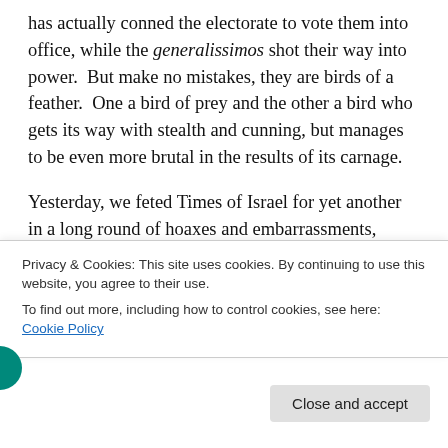has actually conned the electorate to vote them into office, while the generalissimos shot their way into power.  But make no mistakes, they are birds of a feather.  One a bird of prey and the other a bird who gets its way with stealth and cunning, but manages to be even more brutal in the results of its carnage.
Yesterday, we feted Times of Israel for yet another in a long round of hoaxes and embarrassments, when it published this hoax as if it were true.  Today, let’s add another outlet to Hall of Shame: Army Radio (reporter Jackie Hugi) was the originator of the hoax in Israeli
Privacy & Cookies: This site uses cookies. By continuing to use this website, you agree to their use.
To find out more, including how to control cookies, see here: Cookie Policy
Close and accept
Mami with his own supporters, who would be shocked to